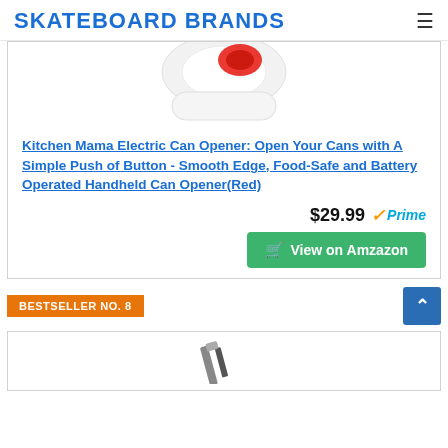SKATEBOARD BRANDS
[Figure (photo): Electric can opener product image - white and red handheld can opener, partially visible at top]
Kitchen Mama Electric Can Opener: Open Your Cans with A Simple Push of Button - Smooth Edge, Food-Safe and Battery Operated Handheld Can Opener(Red)
$29.99 ✓Prime
View on Amzazon
BESTSELLER NO. 8
[Figure (photo): Partially visible product image below bestseller badge - appears to be a tool or opener]